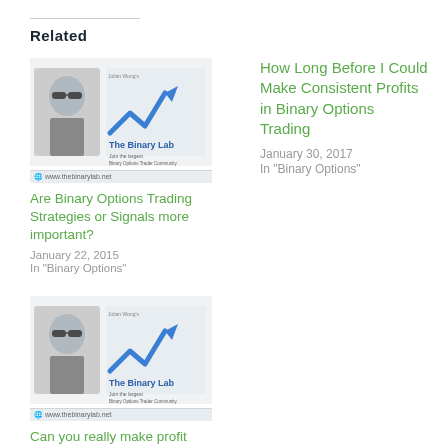Related
[Figure (screenshot): Thumbnail image for The Binary Lab article - shows a person with sunglasses and The Binary Lab logo]
Are Binary Options Trading Strategies or Signals more important?
January 22, 2015
In "Binary Options"
How Long Before I Could Make Consistent Profits in Binary Options Trading
January 30, 2017
In "Binary Options"
[Figure (screenshot): Thumbnail image for The Binary Lab article - shows a person with sunglasses and The Binary Lab logo]
Can you really make profit from the binary lab?
April 18, 2015